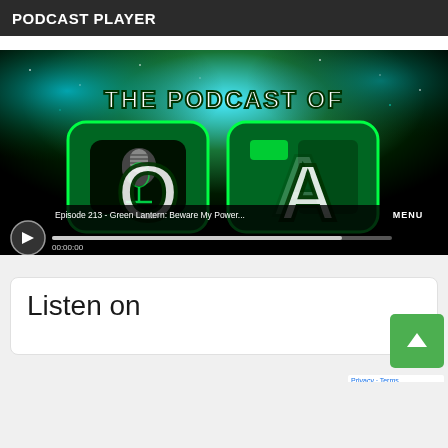PODCAST PLAYER
[Figure (screenshot): Podcast player widget showing 'The Podcast of OA' artwork with a green lantern themed design, microphone graphic, episode title 'Episode 213 - Green Lantern: Beware My Power...' and audio player controls with MENU button, progress bar, and 00:00:00 timestamp]
Listen on